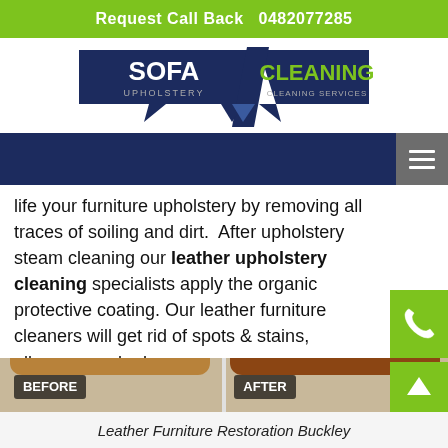Request Call Back   0482077285
[Figure (logo): Sofa Upholstery / Cleaning Services logo with dark blue angular banner shape and green text]
[Figure (other): Dark navy navigation bar with hamburger menu icon on right side]
life your furniture upholstery by removing all traces of soiling and dirt.  After upholstery steam cleaning our leather upholstery cleaning specialists apply the organic protective coating. Our leather furniture cleaners will get rid of spots & stains, allergens and odours.
[Figure (other): Green phone call button icon on right side]
[Figure (photo): Before and after photo of leather sofa cleaning restoration — left side shows faded worn leather sofa labeled BEFORE, right side shows restored rich brown leather sofa labeled AFTER]
Leather Furniture Restoration Buckley